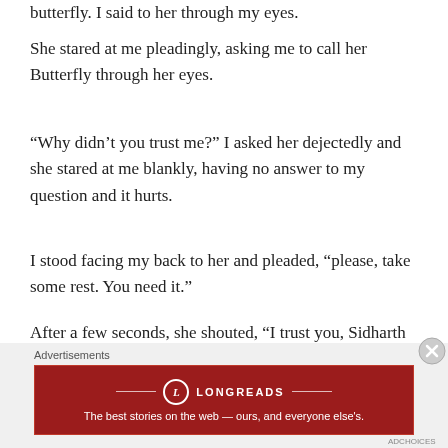butterfly. I said to her through my eyes.
She stared at me pleadingly, asking me to call her Butterfly through her eyes.
“Why didn’t you trust me?” I asked her dejectedly and she stared at me blankly, having no answer to my question and it hurts.
I stood facing my back to her and pleaded, “please, take some rest. You need it.”
After a few seconds, she shouted, “I trust you, Sidharth and I love you so much.”
[Figure (infographic): Longreads advertisement banner: red background with Longreads logo and tagline 'The best stories on the web — ours, and everyone else's.']